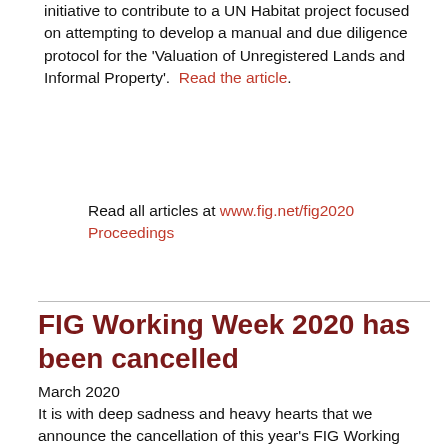initiative to contribute to a UN Habitat project focused on attempting to develop a manual and due diligence protocol for the 'Valuation of Unregistered Lands and Informal Property'. Read the article.
Read all articles at www.fig.net/fig2020 Proceedings
FIG Working Week 2020 has been cancelled
March 2020
It is with deep sadness and heavy hearts that we announce the cancellation of this year's FIG Working Week in Amsterdam due 10-14 May.
This is not a decision we have taken lightly and there are two overriding concerns that have caused us to